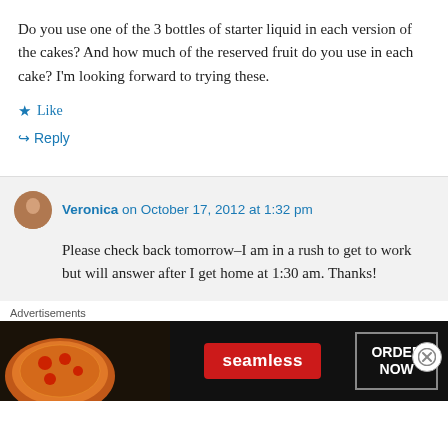Do you use one of the 3 bottles of starter liquid in each version of the cakes? And how much of the reserved fruit do you use in each cake? I'm looking forward to trying these.
★ Like
↪ Reply
Veronica on October 17, 2012 at 1:32 pm
Please check back tomorrow–I am in a rush to get to work but will answer after I get home at 1:30 am. Thanks!
Advertisements
[Figure (other): Seamless food delivery advertisement banner with pizza image, Seamless logo in red, and ORDER NOW button]